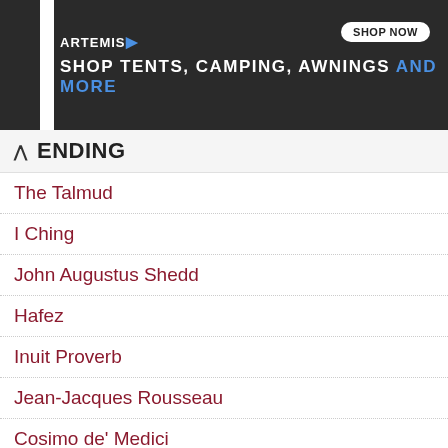[Figure (other): Advertisement banner for Artemis: Shop Tents, Camping, Awnings AND MORE with Shop Now button]
TRENDING
The Talmud
I Ching
John Augustus Shedd
Hafez
Inuit Proverb
Jean-Jacques Rousseau
Cosimo de' Medici
Mother Teresa
Lee Kuan Yew
Sun Tzu
Popular Topics
Action • Adversity • Age • Aging • Attitude • Belief • Books • Business • Change • Character • Confidence •